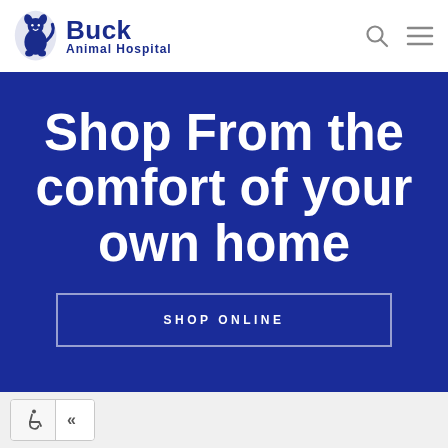Buck Animal Hospital
Shop From the comfort of your own home
SHOP ONLINE
[Figure (other): Accessibility widget with wheelchair icon and collapse arrow]